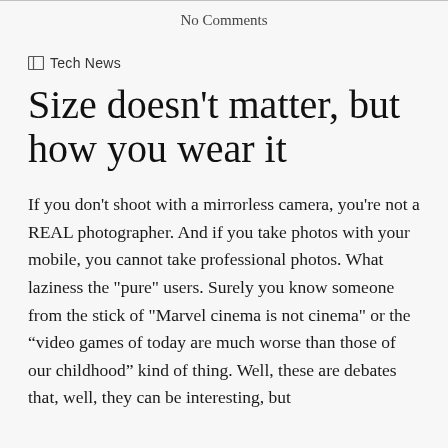No Comments
Tech News
Size doesn't matter, but how you wear it
If you don't shoot with a mirrorless camera, you're not a REAL photographer. And if you take photos with your mobile, you cannot take professional photos. What laziness the "pure" users. Surely you know someone from the stick of "Marvel cinema is not cinema" or the “video games of today are much worse than those of our childhood” kind of thing. Well, these are debates that, well, they can be interesting, but